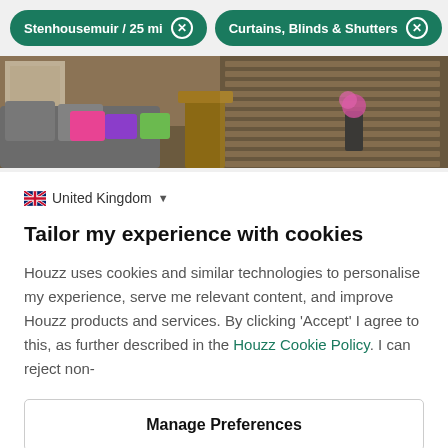Stenhousemuir / 25 mi × | Curtains, Blinds & Shutters ×
[Figure (photo): Interior room photo showing a sofa with colorful pillows and wooden shutters/blinds in the background]
🇬🇧 United Kingdom ▼
Tailor my experience with cookies
Houzz uses cookies and similar technologies to personalise my experience, serve me relevant content, and improve Houzz products and services. By clicking 'Accept' I agree to this, as further described in the Houzz Cookie Policy. I can reject non-
Manage Preferences
Accept